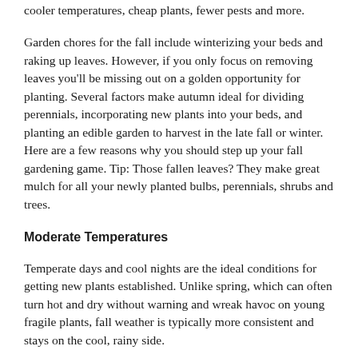cooler temperatures, cheap plants, fewer pests and more.
Garden chores for the fall include winterizing your beds and raking up leaves. However, if you only focus on removing leaves you'll be missing out on a golden opportunity for planting. Several factors make autumn ideal for dividing perennials, incorporating new plants into your beds, and planting an edible garden to harvest in the late fall or winter. Here are a few reasons why you should step up your fall gardening game. Tip: Those fallen leaves? They make great mulch for all your newly planted bulbs, perennials, shrubs and trees.
Moderate Temperatures
Temperate days and cool nights are the ideal conditions for getting new plants established. Unlike spring, which can often turn hot and dry without warning and wreak havoc on young fragile plants, fall weather is typically more consistent and stays on the cool, rainy side.
Less Pests
Since a large number of standard garden pests finish the above-